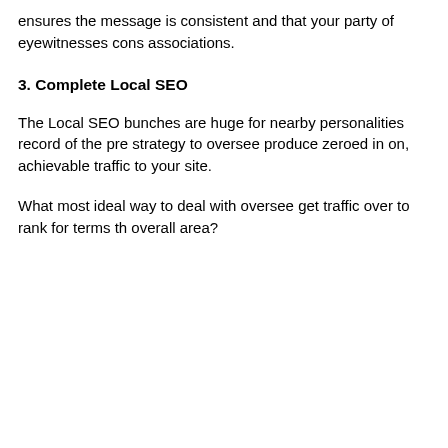ensures the message is consistent and that your party of eyewitnesses cons associations.
3. Complete Local SEO
The Local SEO bunches are huge for nearby personalities record of the pre strategy to oversee produce zeroed in on, achievable traffic to your site.
What most ideal way to deal with oversee get traffic over to rank for terms th overall area?